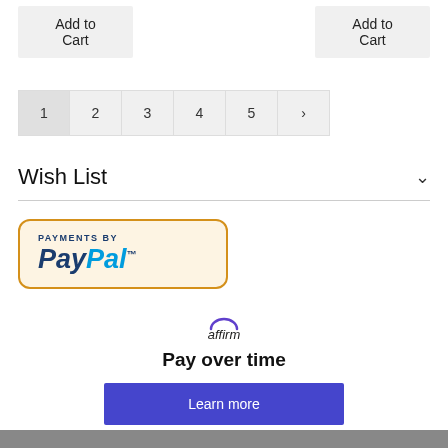[Figure (screenshot): Two 'Add to Cart' buttons side by side at top of page]
[Figure (screenshot): Pagination bar with pages 1, 2, 3, 4, 5 and a right arrow]
Wish List
[Figure (logo): Payments by PayPal badge with yellow/gold border on cream background]
[Figure (logo): Affirm logo]
Pay over time
[Figure (screenshot): Learn more button in blue/purple]